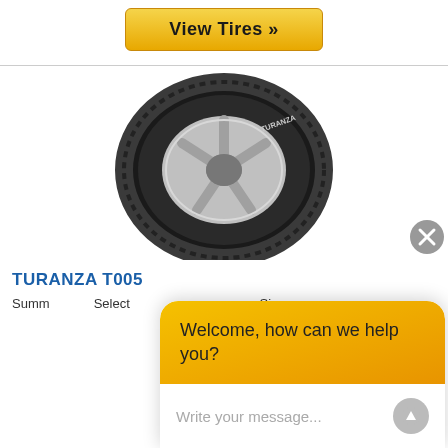[Figure (other): Yellow 'View Tires »' button with rounded corners and gradient background]
[Figure (photo): Bridgestone Turanza T005 tire product photo on white background]
TURANZA T005
Summer tyre. Select size to view Available Sizes.
[Figure (screenshot): Chat widget overlay with orange header saying 'Welcome, how can we help you?' and a text input field with placeholder 'Write your message...']